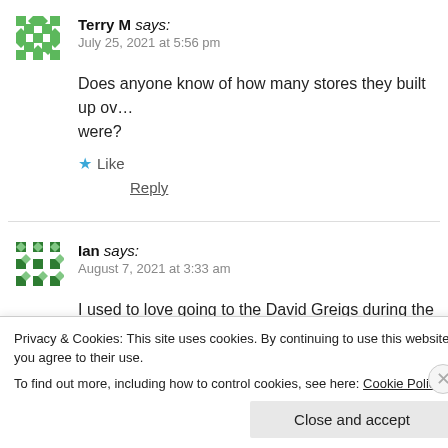Terry M says: July 25, 2021 at 5:56 pm
Does anyone know of how many stores they built up over the years and how many there were?
Like
Reply
Ian says: August 7, 2021 at 3:33 am
I used to love going to the David Greigs during the late
Privacy & Cookies: This site uses cookies. By continuing to use this website, you agree to their use.
To find out more, including how to control cookies, see here: Cookie Policy
Close and accept